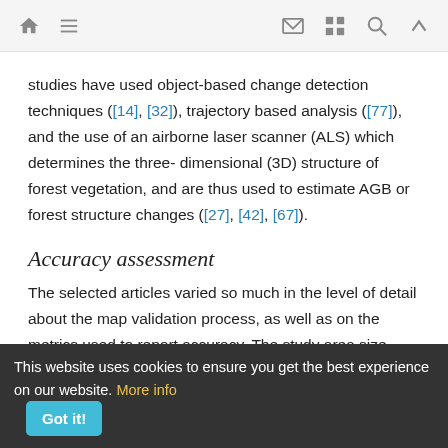navigation bar with home, menu, mail, grid, search, up icons
studies have used object-based change detection techniques ([14], [32]), trajectory based analysis ([77]), and the use of an airborne laser scanner (ALS) which determines the three-dimensional (3D) structure of forest vegetation, and are thus used to estimate AGB or forest structure changes ([27], [42], [67]).
Accuracy assessment
The selected articles varied so much in the level of detail about the map validation process, as well as on the metrics used to report accuracy. The study area size ranged from about one km² to analysis done on a regional scale, covering about 4,000,000 km², but ~34% of cases (n = 37) dealt areas
This website uses cookies to ensure you get the best experience on our website. More info  Got it!